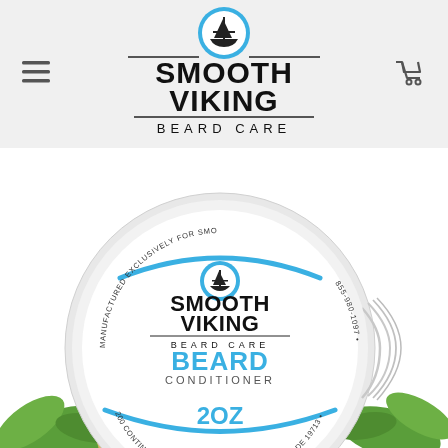[Figure (logo): Smooth Viking Beard Care logo with Viking ship icon above bold text SMOOTH VIKING and subtitle BEARD CARE]
[Figure (photo): Smooth Viking Beard Care Beard Conditioner 2oz silver tin product, with green leaves and nuts visible at bottom, labeled MANUFACTURED EXCLUSIVELY FOR SMOOTH VIKING LLC, 200 CONTINENTAL DRIVE, SUITE 401-519, NEWARK DE 19713]